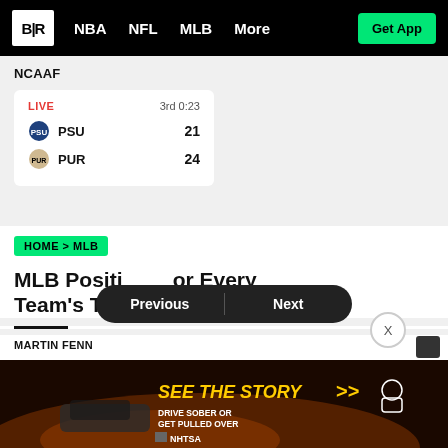B/R | NBA | NFL | MLB | More | Get App
NCAAF
|  | Team | Score |
| --- | --- | --- |
| LIVE | 3rd 0:23 |  |
| PSU | 21 |  |
| PUR | 24 |  |
HOME > MLB
MLB Positions for Every Team's Top Outfielder
MARTIN FENN
MARCH
[Figure (screenshot): NHTSA advertisement banner: SEE THE STORY >> with DRIVE SOBER OR GET PULLED OVER text and NHTSA logo]